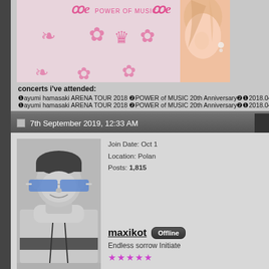[Figure (photo): Ayumi Hamasaki Power of Music 20th Anniversary concert banner with pink decorative text and ornaments, partially showing singer's portrait on the right]
concerts i've attended:
❶ayumi hamasaki ARENA TOUR 2018 ❷POWER of MUSIC 20th Anniversary❷❶2018.04.07
❶ayumi hamasaki ARENA TOUR 2018 ❷POWER of MUSIC 20th Anniversary❷❶2018.04.08
7th September 2019, 12:33 AM
[Figure (photo): Black and white profile photo of a man wearing blue-tinted aviator sunglasses and a grey turtleneck sweater]
Join Date: Oct 1
Location: Polan
Posts: 1,815
maxikot Offline
Endless sorrow Initiate
★★★★★